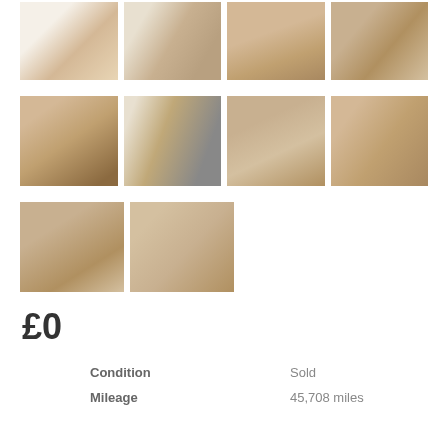[Figure (photo): Grid of 10 interior photos of a motorhome/caravan showing various interior views: living area, seating, cabinets, bunk beds, driver seats, storage areas]
£0
| Condition | Sold |
| --- | --- |
| Mileage | 45,708 miles |